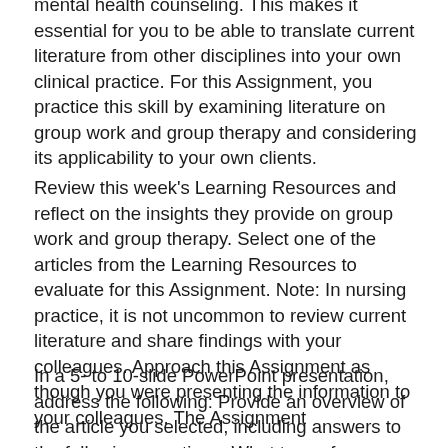mental health counseling. This makes it essential for you to be able to translate current literature from other disciplines into your own clinical practice. For this Assignment, you practice this skill by examining literature on group work and group therapy and considering its applicability to your own clients.
Review this week's Learning Resources and reflect on the insights they provide on group work and group therapy. Select one of the articles from the Learning Resources to evaluate for this Assignment. Note: In nursing practice, it is not uncommon to review current literature and share findings with your colleagues. Approach this Assignment as though you were presenting the information to your colleagues. The Assignment
In a 5- to 10-slide PowerPoint presentation, address the following: Provide an overview of the article you selected, including answers to the following questions: What type of